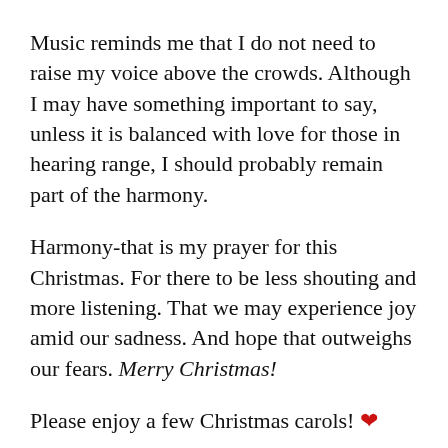Music reminds me that I do not need to raise my voice above the crowds. Although I may have something important to say, unless it is balanced with love for those in hearing range, I should probably remain part of the harmony.
Harmony-that is my prayer for this Christmas. For there to be less shouting and more listening. That we may experience joy amid our sadness. And hope that outweighs our fears. Merry Christmas!
Please enjoy a few Christmas carols! ❤